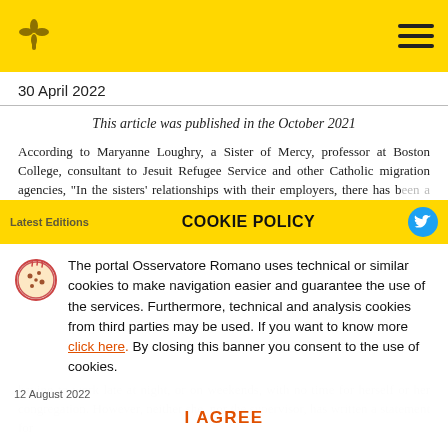[Logo] [Hamburger menu]
30 April 2022
This article was published in the October 2021
According to Maryanne Loughry, a Sister of Mercy, professor at Boston College, consultant to Jesuit Refugee Service and other Catholic migration agencies, "In the sisters' relationships with their employers, there has b...issue we need to addre...
COOKIE POLICY
The portal Osservatore Romano uses technical or similar cookies to make navigation easier and guarantee the use of the services. Furthermore, technical and analysis cookies from third parties may be used. If you want to know more click here. By closing this banner you consent to the use of cookies.
12 August 2022
I AGREE